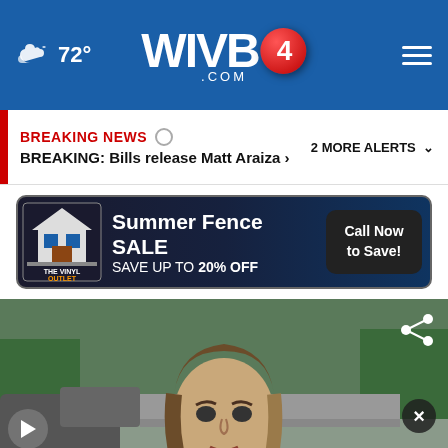72° WIVB4.COM
BREAKING NEWS  BREAKING: Bills release Matt Araiza >  2 MORE ALERTS
[Figure (screenshot): The Vinyl Outlet Summer Fence SALE advertisement banner: Save up to 20% OFF, Call Now to Save!]
[Figure (screenshot): Video thumbnail showing a female reporter (Kale...) being interviewed outdoors near a vehicle. Share icon top right, close button, play button bottom left.]
[Figure (screenshot): The Vinyl Outlet SUMMER SALE advertisement banner: Save up to 20% OFF, Call Now to Save! (bottom overlay ad)]